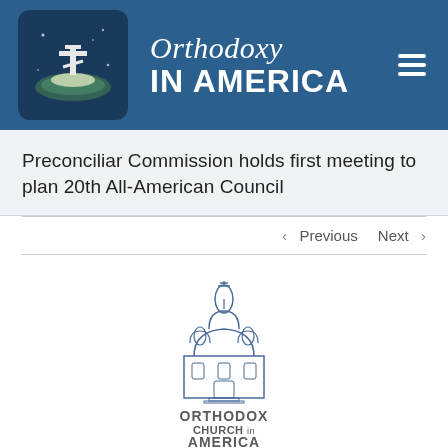[Figure (logo): Orthodoxy in America website header banner with logo icon on dark blue background showing a cross and globe, title text 'Orthodoxy IN AMERICA', and hamburger menu icon]
Preconciliar Commission holds first meeting to plan 20th All-American Council
< Previous   Next >
[Figure (logo): Orthodox Church in America logo — line-art illustration of an Orthodox church building with onion domes, with text 'ORTHODOX CHURCH in AMERICA' below in dark blue/grey]